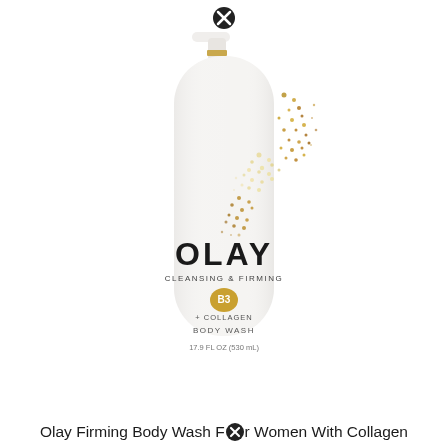[Figure (photo): Olay Cleansing & Firming Body Wash pump bottle in white with gold accents. The bottle features a white pump top with a gold band, white cylindrical body with decorative gold/bronze glitter particle swirl design, OLAY brand name in large black letters, 'CLEANSING & FIRMING' subtitle, B3 vitamin badge, '+ COLLAGEN' text, 'BODY WASH' text, and '17.9 FL OZ (530 mL)' volume. A close/X icon appears at the top of the image.]
Olay Firming Body Wash For Women With Collagen